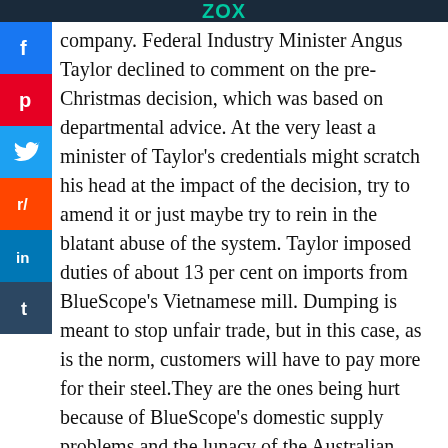ZOX
[Figure (infographic): Social media share buttons sidebar: Facebook, Pinterest, Twitter, Reddit, LinkedIn, Tumblr]
company. Federal Industry Minister Angus Taylor declined to comment on the pre-Christmas decision, which was based on departmental advice. At the very least a minister of Taylor's credentials might scratch his head at the impact of the decision, try to amend it or just maybe try to rein in the blatant abuse of the system. Taylor imposed duties of about 13 per cent on imports from BlueScope's Vietnamese mill. Dumping is meant to stop unfair trade, but in this case, as is the norm, customers will have to pay more for their steel. They are the ones being hurt because of BlueScope's domestic supply problems and the lunacy of the Australian Dumping Authority's recommendations. The injury leg in the claim is impossible to justify when BlueScope reported record underlying earnings of $1.7bn last financial year and is forecasting first-half earnings this year of $2.2bn. The decision makes zero sense, and the imposition of duties which must now be paid by